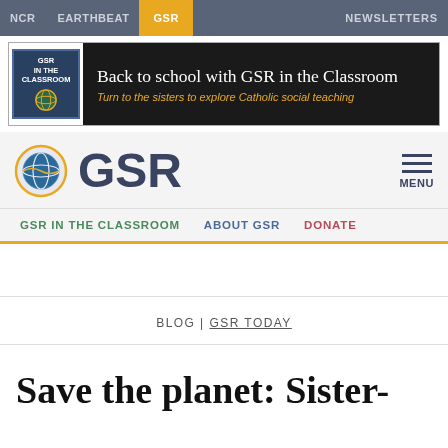NCR   EARTHBEAT   GSR   NEWSLETTERS
[Figure (screenshot): GSR in the Classroom banner advertisement with globe logo, headline 'Back to school with GSR in the Classroom' and subtext 'Turn to the sisters to explore Catholic social teaching']
[Figure (logo): GSR logo with globe icon and 'GSR' text, plus hamburger menu button labeled MENU]
GSR IN THE CLASSROOM   ABOUT GSR   DONATE
BLOG | GSR TODAY
Save the planet: Sister-